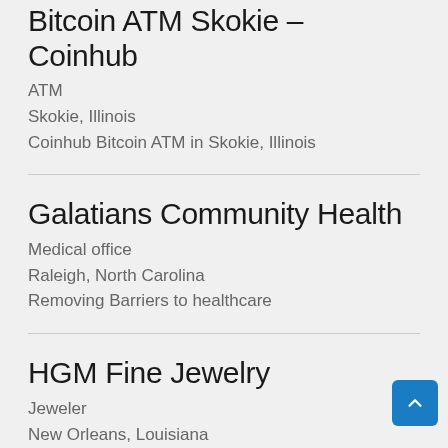Bitcoin ATM Skokie – Coinhub
ATM
Skokie, Illinois
Coinhub Bitcoin ATM in Skokie, Illinois
Galatians Community Health
Medical office
Raleigh, North Carolina
Removing Barriers to healthcare
HGM Fine Jewelry
Jeweler
New Orleans, Louisiana
FINE JEWELRY SINCE 1997